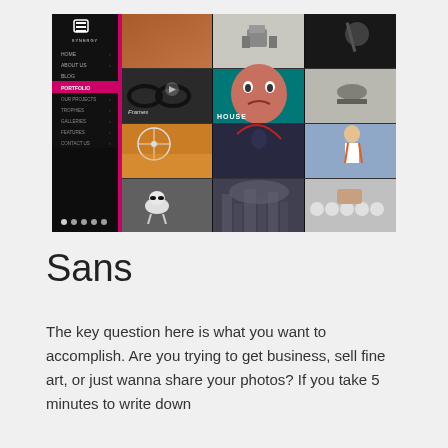[Figure (screenshot): Screenshot of a photography/portfolio website called 'Synergy' with a dark sidebar navigation (Home, About Us, Blog, Portfolio, Our Projects, Trophies, Galleries, Features, Contact Us) and a grid of portfolio images including animated characters, portraits, landscapes, and conceptual art.]
Sans
The key question here is what you want to accomplish. Are you trying to get business, sell fine art, or just wanna share your photos? If you take 5 minutes to write down